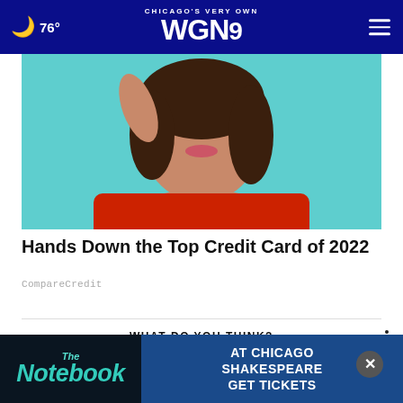76° CHICAGO'S VERY OWN WGN9
[Figure (photo): Woman in red ribbed turtleneck sweater against teal/mint background, hand raised near face, mouth slightly open]
Hands Down the Top Credit Card of 2022
CompareCredit
WHAT DO YOU THINK?
Do you expect that former President Trump will wait until after the November midterm elections to make an official presidential bid?
[Figure (advertisement): The Notebook AT CHICAGO SHAKESPEARE GET TICKETS - banner advertisement with teal logo on dark background]